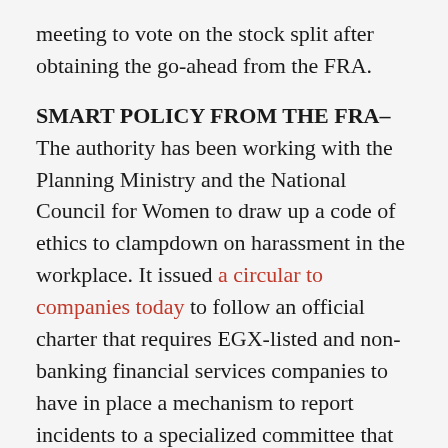meeting to vote on the stock split after obtaining the go-ahead from the FRA.
SMART POLICY FROM THE FRA– The authority has been working with the Planning Ministry and the National Council for Women to draw up a code of ethics to clampdown on harassment in the workplace. It issued a circular to companies today to follow an official charter that requires EGX-listed and non-banking financial services companies to have in place a mechanism to report incidents to a specialized committee that will be set up by the FRA.
[Figure (infographic): Social sharing icons: email (grey), Twitter (blue), LinkedIn (blue), Facebook (dark blue), WhatsApp (green)]